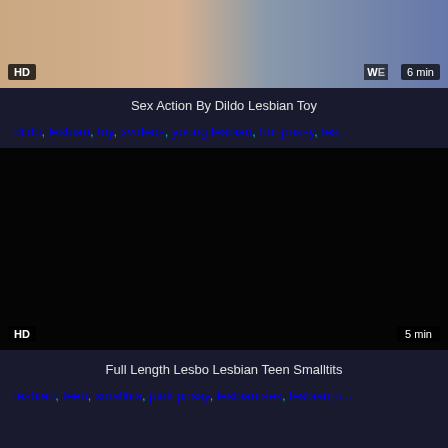[Figure (photo): Video thumbnail showing adult content, HD badge bottom-left, watermark and 6 min duration badge bottom-right]
Sex Action By Dildo Lesbian Toy
dildo, lesbian, toy, xvideos, young lesbian, hot pussy, les...
[Figure (photo): Dark/black video thumbnail with HD badge bottom-left and 5 min duration bottom-right]
Full Length Lesbo Lesbian Teen Smalltits
lesbian, teen, smalltits, pink pussy, lesbian sex, lesbian p...